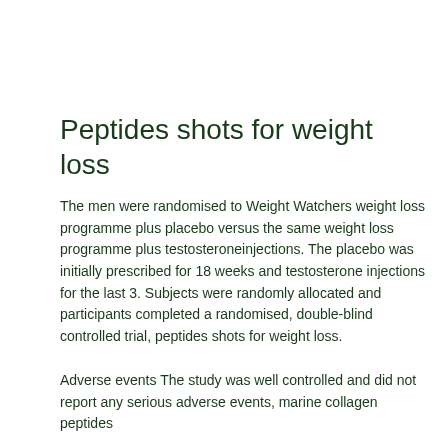Peptides shots for weight loss
The men were randomised to Weight Watchers weight loss programme plus placebo versus the same weight loss programme plus testosteroneinjections. The placebo was initially prescribed for 18 weeks and testosterone injections for the last 3. Subjects were randomly allocated and participants completed a randomised, double-blind controlled trial, peptides shots for weight loss.
Adverse events The study was well controlled and did not report any serious adverse events, marine collagen peptides